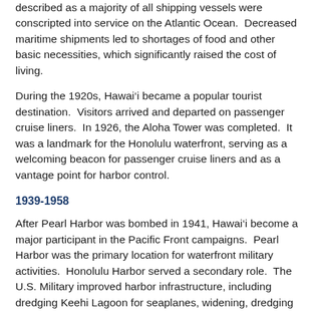described as a majority of all shipping vessels were conscripted into service on the Atlantic Ocean.  Decreased maritime shipments led to shortages of food and other basic necessities, which significantly raised the cost of living.
During the 1920s, Hawai‘i became a popular tourist destination.  Visitors arrived and departed on passenger cruise liners.  In 1926, the Aloha Tower was completed.  It was a landmark for the Honolulu waterfront, serving as a welcoming beacon for passenger cruise liners and as a vantage point for harbor control.
1939-1958
After Pearl Harbor was bombed in 1941, Hawai‘i become a major participant in the Pacific Front campaigns.  Pearl Harbor was the primary location for waterfront military activities.  Honolulu Harbor served a secondary role.  The U.S. Military improved harbor infrastructure, including dredging Keehi Lagoon for seaplanes, widening, dredging and lengthening Kapalama Basin, and constructing new piers.